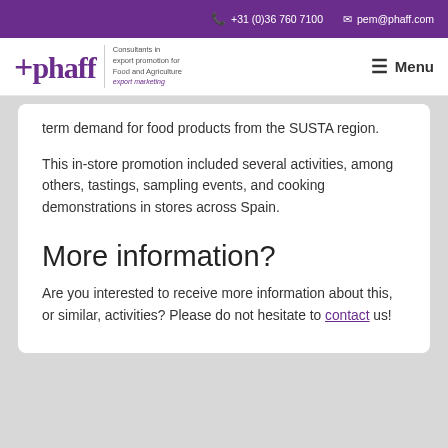+31 (0)36 760 7100   pem@phaff.com
phaff — Consultants in export promotion for Food and Agriculture — Menu
term demand for food products from the SUSTA region.
This in-store promotion included several activities, among others, tastings, sampling events, and cooking demonstrations in stores across Spain.
More information?
Are you interested to receive more information about this, or similar, activities? Please do not hesitate to contact us!